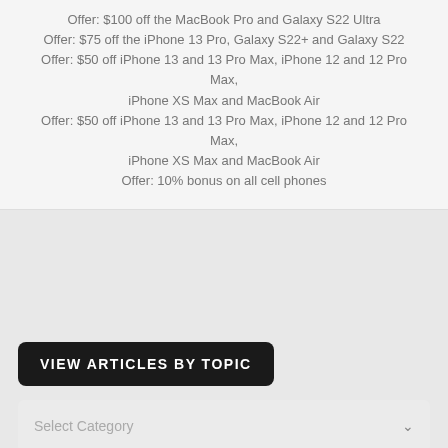Offer: $100 off the MacBook Pro and Galaxy S22 Ultra
Offer: $75 off the iPhone 13 Pro, Galaxy S22+ and Galaxy S22
Offer: $50 off iPhone 13 and 13 Pro Max, iPhone 12 and 12 Pro Max, iPhone XS Max and MacBook Air
Offer: $50 off iPhone 13 and 13 Pro Max, iPhone 12 and 12 Pro Max, iPhone XS Max and MacBook Air
Offer: 10% bonus on all cell phones
VIEW ARTICLES BY TOPIC
Select Category
MORE